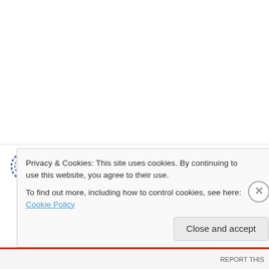jack on June 10, 2008 at 5:25 pm
👍 0 👎 0 ℹ Rate This
ama49,
Just want to let you know that I will respect your request from another article's entry and no
Privacy & Cookies: This site uses cookies. By continuing to use this website, you agree to their use.
To find out more, including how to control cookies, see here: Cookie Policy
Close and accept